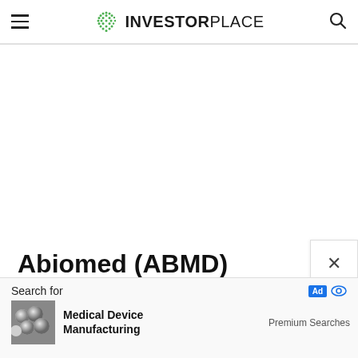INVESTORPLACE
Abiomed (ABMD)
[Figure (screenshot): Advertisement banner showing Search for Medical Device Manufacturing with Premium Searches label, Ad badge, and eye icon]
Search for
Medical Device Manufacturing
Premium Searches